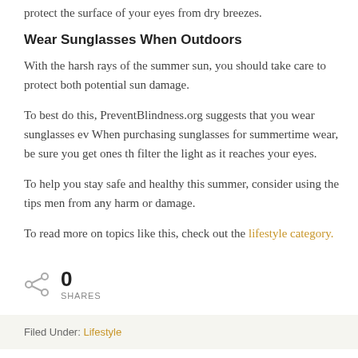protect the surface of your eyes from dry breezes.
Wear Sunglasses When Outdoors
With the harsh rays of the summer sun, you should take care to protect both potential sun damage.
To best do this, PreventBlindness.org suggests that you wear sunglasses ev When purchasing sunglasses for summertime wear, be sure you get ones th filter the light as it reaches your eyes.
To help you stay safe and healthy this summer, consider using the tips men from any harm or damage.
To read more on topics like this, check out the lifestyle category.
0 SHARES
Filed Under: Lifestyle